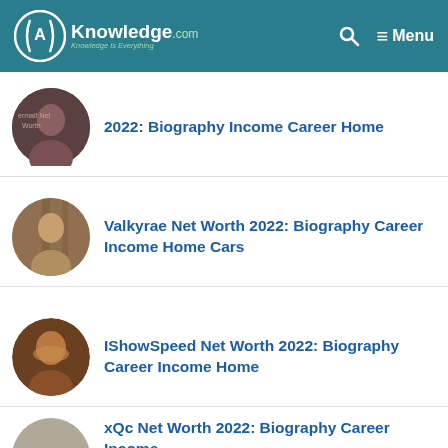AKnowledge.com — Knowledge Is Everything | Menu
2022: Biography Income Career Home
Valkyrae Net Worth 2022: Biography Career Income Home Cars
IShowSpeed Net Worth 2022: Biography Career Income Home
xQc Net Worth 2022: Biography Career Income